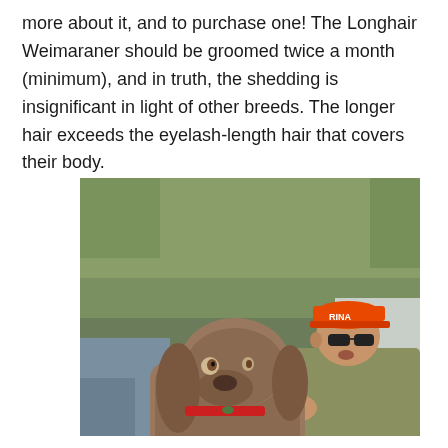more about it, and to purchase one! The Longhair Weimaraner should be groomed twice a month (minimum), and in truth, the shedding is insignificant in light of other breeds. The longer hair exceeds the eyelash-length hair that covers their body.
[Figure (photo): A Longhair Weimaraner dog with long floppy ears sitting next to a man wearing an orange cap labeled 'RINA' and sunglasses, dressed in an olive green shirt. They appear to be outdoors near a vehicle.]